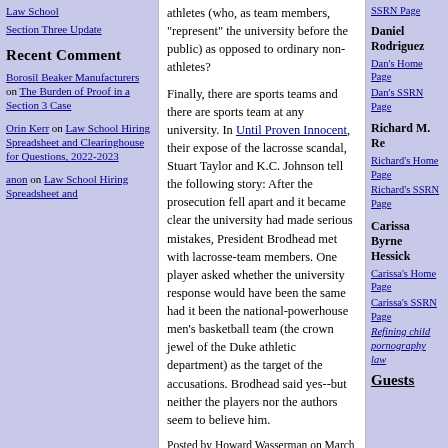Law School Section Three Update
Recent Comment
Borosil Beaker Manufacturers on The Burden of Proof in a Section 3 Case
Orin Kerr on Law School Hiring Spreadsheet and Clearinghouse for Questions, 2022-2023
anon on Law School Hiring Spreadsheet and
athletes (who, as team members, "represent" the university before the public) as opposed to ordinary non-athletes?
Finally, there are sports teams and there are sports team at any university. In Until Proven Innocent, their expose of the lacrosse scandal, Stuart Taylor and K.C. Johnson tell the following story: After the prosecution fell apart and it became clear the university had made serious mistakes, President Brodhead met with lacrosse-team members. One player asked whether the university response would have been the same had it been the national-powerhouse men's basketball team (the crown jewel of the Duke athletic department) as the target of the accusations. Brodhead said yes--but neither the players nor the authors seem to believe him.
Posted by Howard Wasserman on March 3, 2008 at 10:15 AM | Permalink
TRACKBACK
SSRN Page
Daniel Rodriguez
Dan's Home Page Dan's SSRN Page
Richard M. Re
Richard's Home Page Richard's SSRN Page
Carissa Byrne Hessick
Carissa's Home Page Carissa's SSRN Page Refining child pornography law
Guests